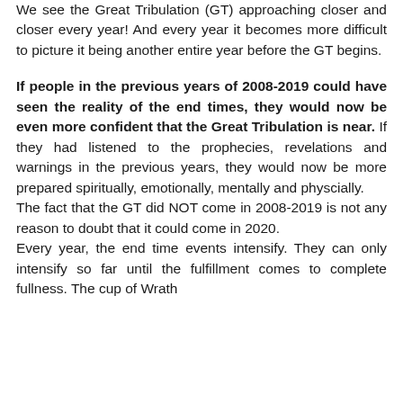We see the Great Tribulation (GT) approaching closer and closer every year! And every year it becomes more difficult to picture it being another entire year before the GT begins.
If people in the previous years of 2008-2019 could have seen the reality of the end times, they would now be even more confident that the Great Tribulation is near. If they had listened to the prophecies, revelations and warnings in the previous years, they would now be more prepared spiritually, emotionally, mentally and physcially.
The fact that the GT did NOT come in 2008-2019 is not any reason to doubt that it could come in 2020.
Every year, the end time events intensify. They can only intensify so far until the fulfillment comes to complete fullness. The cup of Wrath